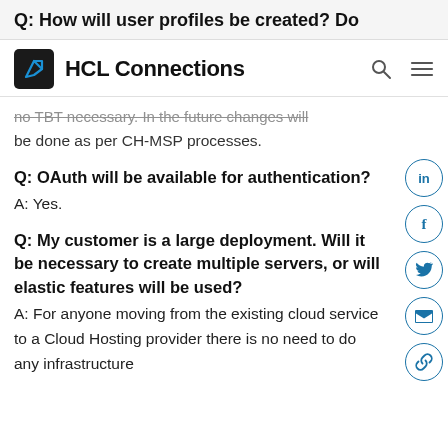Q: How will user profiles be created? Do
[Figure (logo): HCL Connections logo — dark square with stylized arrow icon, followed by text 'HCL Connections']
no TBT necessary. In the future changes will be done as per CH-MSP processes.
Q: OAuth will be available for authentication?
A: Yes.
Q: My customer is a large deployment. Will it be necessary to create multiple servers, or will elastic features will be used?
A: For anyone moving from the existing cloud service to a Cloud Hosting provider there is no need to do any infrastructure